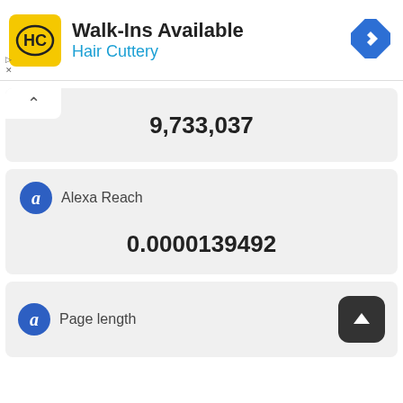[Figure (infographic): Hair Cuttery advertisement banner with logo, 'Walk-Ins Available' text, and navigation icon]
9,733,037
[Figure (infographic): Alexa Reach metric card showing value 0.0000139492]
0.0000139492
[Figure (infographic): Page length metric card with Alexa icon and scroll-to-top button]